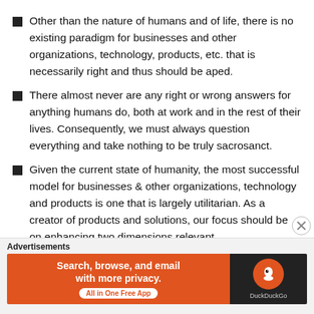Other than the nature of humans and of life, there is no existing paradigm for businesses and other organizations, technology, products, etc. that is necessarily right and thus should be aped.
There almost never are any right or wrong answers for anything humans do, both at work and in the rest of their lives. Consequently, we must always question everything and take nothing to be truly sacrosanct.
Given the current state of humanity, the most successful model for businesses & other organizations, technology and products is one that is largely utilitarian. As a creator of products and solutions, our focus should be on enhancing two dimensions relevant
Advertisements
[Figure (other): DuckDuckGo advertisement banner: orange left side with text 'Search, browse, and email with more privacy. All in One Free App' and dark right side with DuckDuckGo logo]